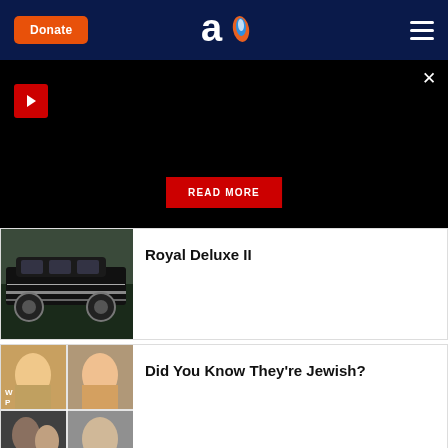Donate | Aish Logo | Menu
[Figure (screenshot): Black video player area with play button and READ MORE button]
[Figure (photo): Black classic car (Royal Deluxe II)]
Royal Deluxe II
[Figure (photo): Photo collage of celebrities - Did You Know They're Jewish?]
Did You Know They're Jewish?